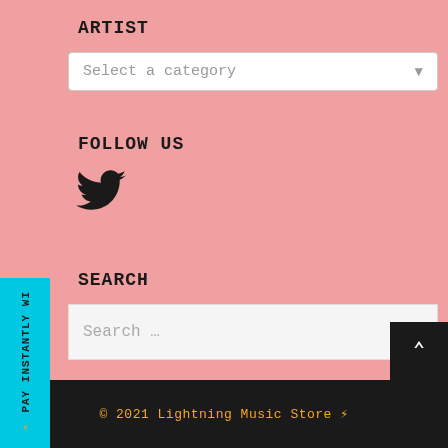ARTIST
Select a category
FOLLOW US
[Figure (illustration): Twitter bird icon in black]
SEARCH
Search …
⚡ PAY INSTANTLY WI
© 2021 Lightning Music Store ⚡